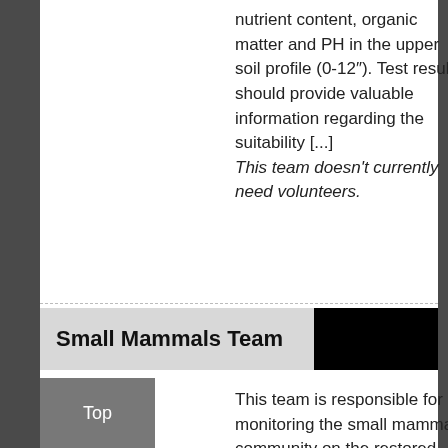nutrient content, organic matter and PH in the upper soil profile (0-12").  Test results should provide valuable information regarding the suitability [...]
This team doesn't currently need volunteers.
Small Mammals Team
This team is responsible for monitoring the small mammal community on the restored areas. The small mammal
Top